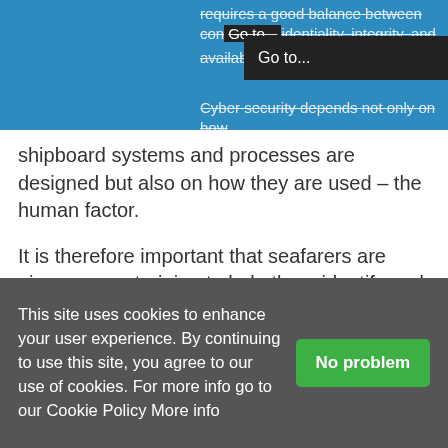requires a good balance between confidentiality, integrity, and availability. Cyber security depends not only on how
shipboard systems and processes are designed but also on how they are used – the human factor.
It is therefore important that seafarers are given proper training to help them identify and report cyber incidents. Based on our analysis of cases involving cyber security, Gard and DNV GL have produced a loss prevention awareness video and a presentation with some recommendations for how the maritime industry can address the issue. The material is not intended to suggest any industry changes or rule changes, but
This site uses cookies to enhance your user experience. By continuing to use this site, you agree to our use of cookies. For more info go to our Cookie Policy More info